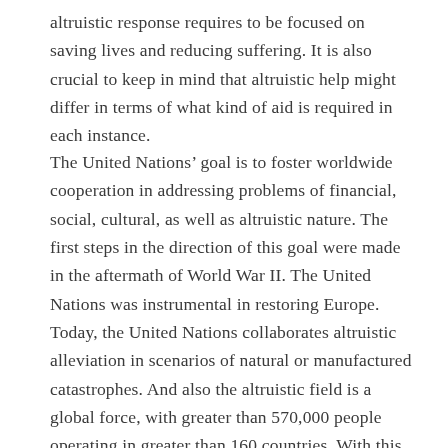altruistic response requires to be focused on saving lives and reducing suffering. It is also crucial to keep in mind that altruistic help might differ in terms of what kind of aid is required in each instance.
The United Nations’ goal is to foster worldwide cooperation in addressing problems of financial, social, cultural, as well as altruistic nature. The first steps in the direction of this goal were made in the aftermath of World War II. The United Nations was instrumental in restoring Europe. Today, the United Nations collaborates altruistic alleviation in scenarios of natural or manufactured catastrophes. And also the altruistic field is a global force, with greater than 570,000 people operating in greater than 160 countries. With this development comes brand-new responsibilities as well as an expanding recognition of the need for altruistic help.